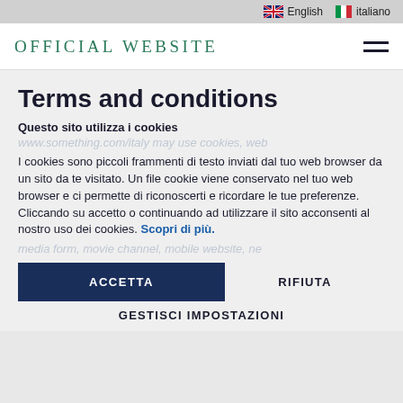English  italiano
OFFICIAL WEBSITE
Terms and conditions
Questo sito utilizza i cookies
www.something.com/italy may use cookies, web
I cookies sono piccoli frammenti di testo inviati dal tuo web browser da un sito da te visitato. Un file cookie viene conservato nel tuo web browser e ci permette di riconoscerti e ricordare le tue preferenze. Cliccando su accetto o continuando ad utilizzare il sito acconsenti al nostro uso dei cookies. Scopri di più.
media form, movie channel, mobile website, ne
ACCETTA
RIFIUTA
GESTISCI IMPOSTAZIONI